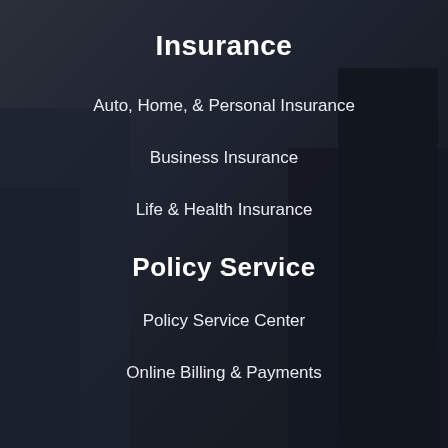Insurance
Auto, Home, & Personal Insurance
Business Insurance
Life & Health Insurance
Policy Service
Policy Service Center
Online Billing & Payments